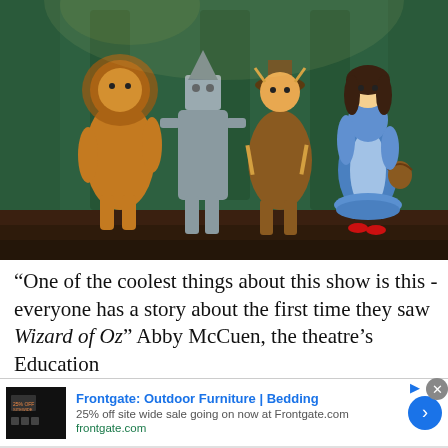[Figure (photo): Stage performance of Wizard of Oz with four costumed characters: Cowardly Lion, Tin Man, Scarecrow, and Dorothy, performing on a theater stage with green backdrop scenery.]
“One of the coolest things about this show is this - everyone has a story about the first time they saw Wizard of Oz” Abby McCuen, the theatre’s Education
[Figure (other): Advertisement for Frontgate: Outdoor Furniture | Bedding. 25% off site wide sale going on now at Frontgate.com. frontgate.com]